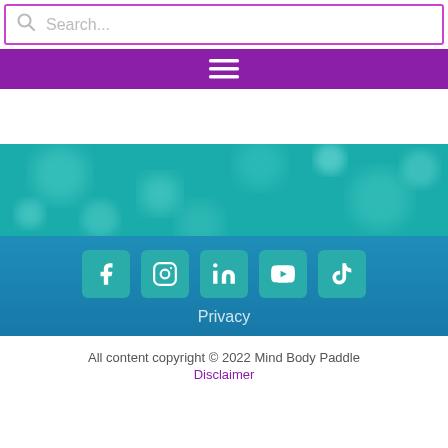Search...
[Figure (other): Purple navigation bar with hamburger menu icon (three horizontal lines)]
[Figure (other): Teal/aqua blurred bokeh texture background section]
[Figure (other): Blue footer section with social media icons: Facebook, Instagram, LinkedIn, YouTube, TikTok]
Privacy
All content copyright © 2022 Mind Body Paddle Disclaimer